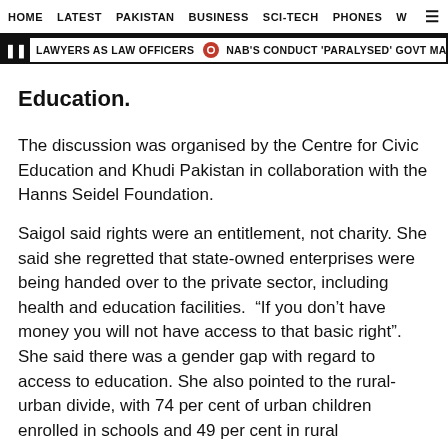HOME  LATEST  PAKISTAN  BUSINESS  SCI-TECH  PHONES  W
LAWYERS AS LAW OFFICERS  NAB'S CONDUCT 'PARALYSED' GOVT MACHINERY
Education.
The discussion was organised by the Centre for Civic Education and Khudi Pakistan in collaboration with the Hanns Seidel Foundation.
Saigol said rights were an entitlement, not charity. She said she regretted that state-owned enterprises were being handed over to the private sector, including health and education facilities.  “If you don’t have money you will not have access to that basic right”. She said there was a gender gap with regard to access to education. She also pointed to the rural-urban divide, with 74 per cent of urban children enrolled in schools and 49 per cent in rural